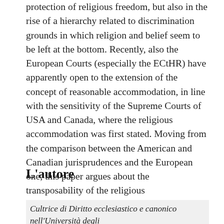protection of religious freedom, but also in the rise of a hierarchy related to discrimination grounds in which religion and belief seem to be left at the bottom. Recently, also the European Courts (especially the ECtHR) have apparently open to the extension of the concept of reasonable accommodation, in line with the sensitivity of the Supreme Courts of USA and Canada, where the religious accommodation was first stated. Moving from the comparison between the American and Canadian jurisprudences and the European one, this paper argues about the transposability of the religious accommodation in Europe, in order to strengthen, even in the workplace, the protection of the freedom of religion.
L'autore
Cultrice di Diritto ecclesiastico e canonico nell'Università degli